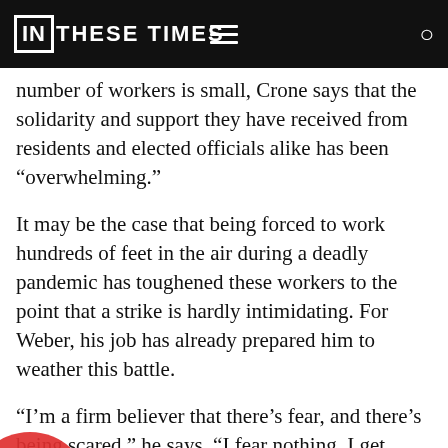IN THESE TIMES
number of workers is small, Crone says that the solidarity and support they have received from residents and elected officials alike has been “overwhelming.”
It may be the case that being forced to work hundreds of feet in the air during a deadly pandemic has toughened these workers to the point that a strike is hardly intimidating. For Weber, his job has already prepared him to weather this battle.
“I’m a firm believer that there’s fear, and there’s being scared,” he says. “I fear nothing. I get scared kinda often, like every day.”
[Figure (photo): Partial view of a red circular object partially visible at the bottom of the page.]